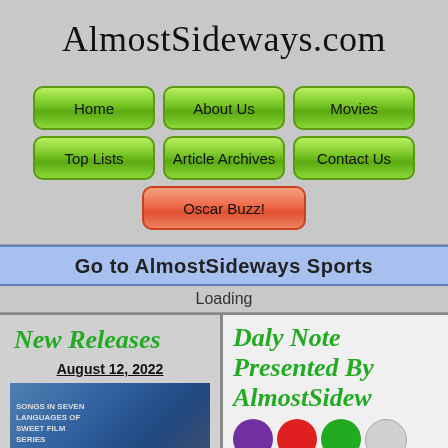AlmostSideways.com
Home
About Us
Movies
Top Lists
Article Archives
Contact Us
Oscar Buzz!
Go to AlmostSideways Sports
Loading
New Releases
August 12, 2022
[Figure (photo): Movie poster thumbnail with blue/dark tones and small text]
Daly Note Presented By AlmostSidew...